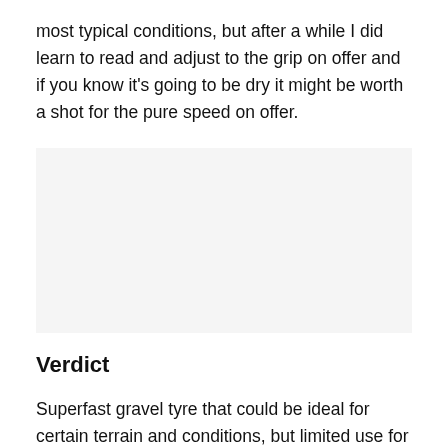most typical conditions, but after a while I did learn to read and adjust to the grip on offer and if you know it's going to be dry it might be worth a shot for the pure speed on offer.
[Figure (photo): Image placeholder area with light grey background, likely a product or action photo of a gravel tyre.]
Verdict
Superfast gravel tyre that could be ideal for certain terrain and conditions, but limited use for typical British riding